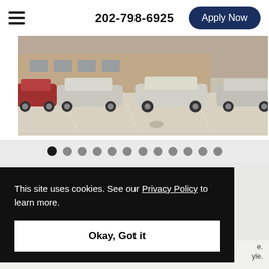202-798-6925  Apply Now
[Figure (photo): Parking lot with several cars parked in a row in front of a brick building]
[Figure (infographic): Carousel dot indicators - 12 dots, first one dark/active, rest gray]
This site uses cookies. See our Privacy Policy to learn more.
Okay, Got it
e. yle.